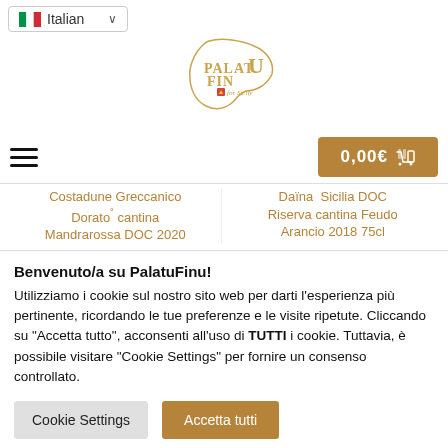Italian
[Figure (logo): PalatuFinu for Sicily logo in gold outline with Sicily island shape]
0,00€ (cart icon)
Costadune Greccanico Dorato˚ cantina Mandrarossa DOC 2020 | Daïna Sicilia DOC Riserva cantina Feudo Arancio 2018 75cl
Benvenuto/a su PalatuFinu!
Utilizziamo i cookie sul nostro sito web per darti l'esperienza più pertinente, ricordando le tue preferenze e le visite ripetute. Cliccando su "Accetta tutto", acconsenti all'uso di TUTTI i cookie. Tuttavia, è possibile visitare "Cookie Settings" per fornire un consenso controllato.
Cookie Settings | Accetta tutti